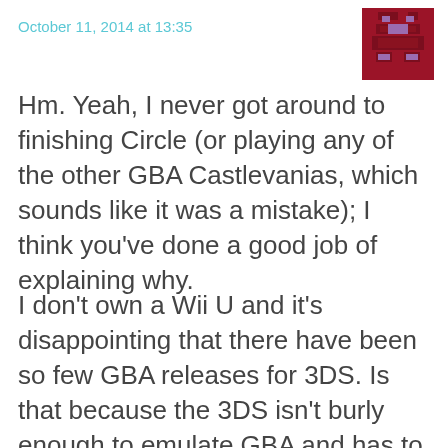October 11, 2014 at 13:35
[Figure (illustration): Pixel art avatar icon in dark red/crimson color, approximately 72x72 pixels, showing a blocky character with purple highlights on a dark red background.]
Hm. Yeah, I never got around to finishing Circle (or playing any of the other GBA Castlevanias, which sounds like it was a mistake); I think you’ve done a good job of explaining why.
I don’t own a Wii U and it’s disappointing that there have been so few GBA releases for 3DS. Is that because the 3DS isn’t burly enough to emulate GBA and has to run those games natively?